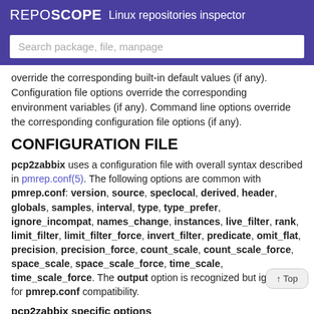REPOSCOPE  Linux repositories inspector
Search package, file, manpage
override the corresponding built-in default values (if any). Configuration file options override the corresponding environment variables (if any). Command line options override the corresponding configuration file options (if any).
CONFIGURATION FILE
pcp2zabbix uses a configuration file with overall syntax described in pmrep.conf(5). The following options are common with pmrep.conf: version, source, speclocal, derived, header, globals, samples, interval, type, type_prefer, ignore_incompat, names_change, instances, live_filter, rank, limit_filter, limit_filter_force, invert_filter, predicate, omit_flat, precision, precision_force, count_scale, count_scale_force, space_scale, space_scale_force, time_scale, time_scale_force. The output option is recognized but ignored for pmrep.conf compatibility.
pcp2zabbix specific options